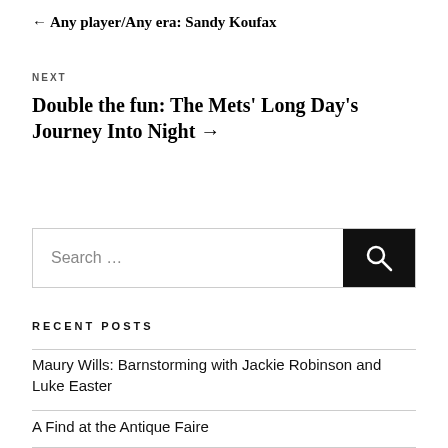← Any player/Any era: Sandy Koufax
NEXT
Double the fun: The Mets' Long Day's Journey Into Night →
[Figure (other): Search bar with text 'Search ...' and a black search button with magnifying glass icon]
RECENT POSTS
Maury Wills: Barnstorming with Jackie Robinson and Luke Easter
A Find at the Antique Faire